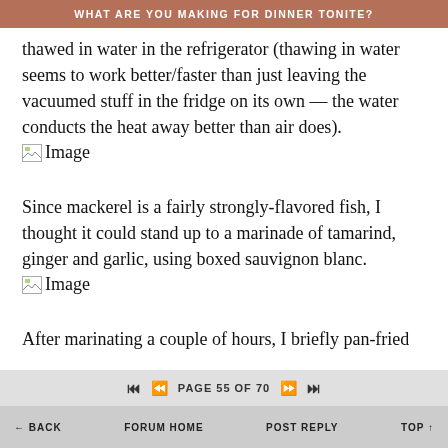WHAT ARE YOU MAKING FOR DINNER TONITE?
thawed in water in the refrigerator (thawing in water seems to work better/faster than just leaving the vacuumed stuff in the fridge on its own — the water conducts the heat away better than air does).
[Figure (photo): Image placeholder icon with broken image indicator and 'Image' label]
Since mackerel is a fairly strongly-flavored fish, I thought it could stand up to a marinade of tamarind, ginger and garlic, using boxed sauvignon blanc.
[Figure (photo): Image placeholder icon with broken image indicator and 'Image' label]
After marinating a couple of hours, I briefly pan-fried
PAGE 55 OF 70
BACK   FORUM HOME   POST REPLY   TOP